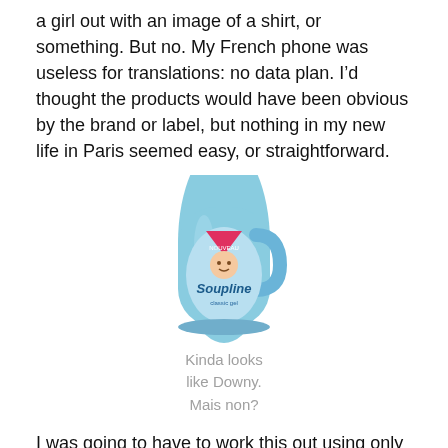a girl out with an image of a shirt, or something. But no. My French phone was useless for translations: no data plan. I’d thought the products would have been obvious by the brand or label, but nothing in my new life in Paris seemed easy, or straightforward.
[Figure (photo): A blue plastic bottle of Soupline fabric softener, resembling Downy brand.]
Kinda looks like Downy. Mais non?
I was going to have to work this out using only high school French and my housekeeping instincts. I walked down the